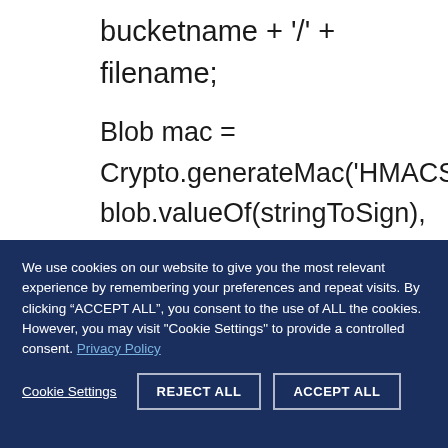bucketname + '/' + filename;
Blob mac =
Crypto.generateMac('HMACSHA1',
blob.valueOf(stringToSign),
blob.valueOf(secret));
String signed =
EncodingUtil.base64Encode(mac);
We use cookies on our website to give you the most relevant experience by remembering your preferences and repeat visits. By clicking “ACCEPT ALL”, you consent to the use of ALL the cookies. However, you may visit "Cookie Settings" to provide a controlled consent. Privacy Policy
Cookie Settings | REJECT ALL | ACCEPT ALL